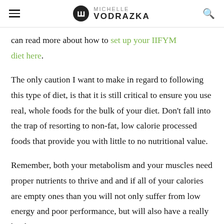Michelle Vodrazka
can read more about how to set up your IIFYM diet here.
The only caution I want to make in regard to following this type of diet, is that it is still critical to ensure you use real, whole foods for the bulk of your diet. Don't fall into the trap of resorting to non-fat, low calorie processed foods that provide you with little to no nutritional value.
Remember, both your metabolism and your muscles need proper nutrients to thrive and and if all of your calories are empty ones than you will not only suffer from low energy and poor performance, but will also have a really hard time